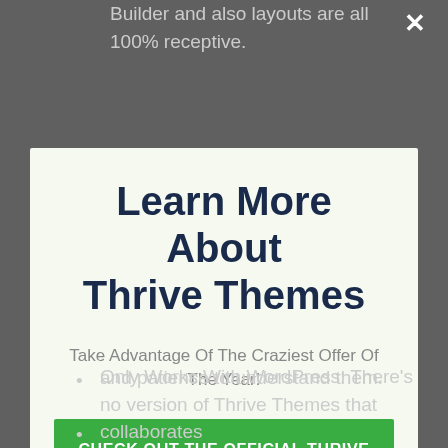Fully Responsive: The Thrive Themes page Builder and also layouts are all 100% receptive.
[Figure (screenshot): Modal popup with close X button, title 'Learn More About Thrive Themes', subtitle 'Take Advantage Of The Craziest Offer Of The Year!', a green CTA button 'CHECK OUT THE OFFICIAL THRIVE SITE HERE', and a dismiss link 'No thanks, I'm not interested!']
and patience to understand them.
Only Works With WordPress: There's no version of Thrive Themes that collaborates